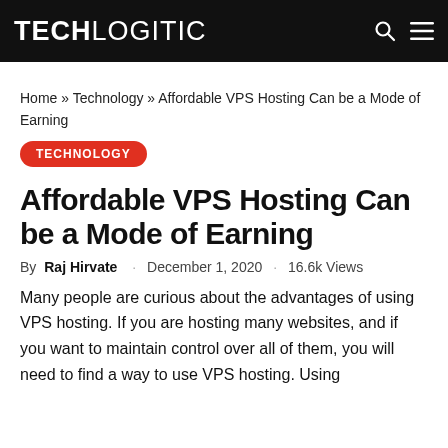TECHLOGITIC
Home » Technology » Affordable VPS Hosting Can be a Mode of Earning
TECHNOLOGY
Affordable VPS Hosting Can be a Mode of Earning
By Raj Hirvate · December 1, 2020 · 16.6k Views
Many people are curious about the advantages of using VPS hosting. If you are hosting many websites, and if you want to maintain control over all of them, you will need to find a way to use VPS hosting. Using